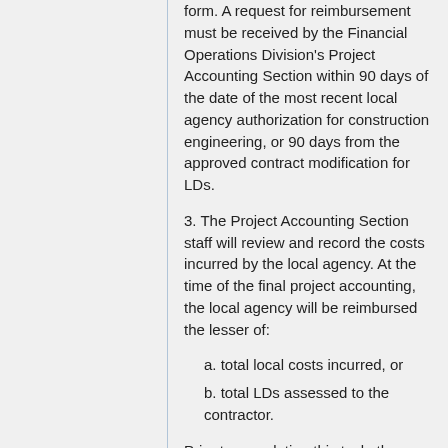form. A request for reimbursement must be received by the Financial Operations Division's Project Accounting Section within 90 days of the date of the most recent local agency authorization for construction engineering, or 90 days from the approved contract modification for LDs.
3. The Project Accounting Section staff will review and record the costs incurred by the local agency. At the time of the final project accounting, the local agency will be reimbursed the lesser of:
a. total local costs incurred, or
b. total LDs assessed to the contractor.
Prior to completing this task, the Project Accounting Section staff will check with the DR to be sure there are no